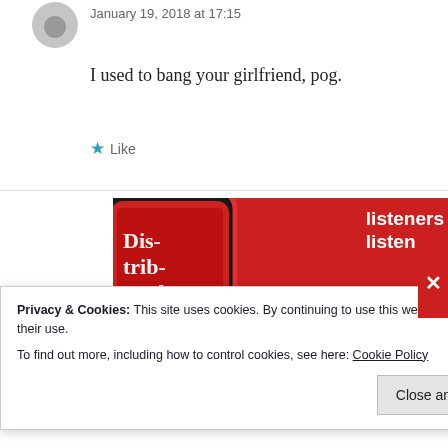January 19, 2018 at 17:15
I used to bang your girlfriend, pog.
★ Like
[Figure (screenshot): Advertisement banner showing a podcast app (Pocket Casts) with a phone displaying 'Dis-tri-bu-ted' podcast on a red background, with text 'listeners listen' and a 'Download' button]
Privacy & Cookies: This site uses cookies. By continuing to use this website, you agree to their use.
To find out more, including how to control cookies, see here: Cookie Policy
Close and accept